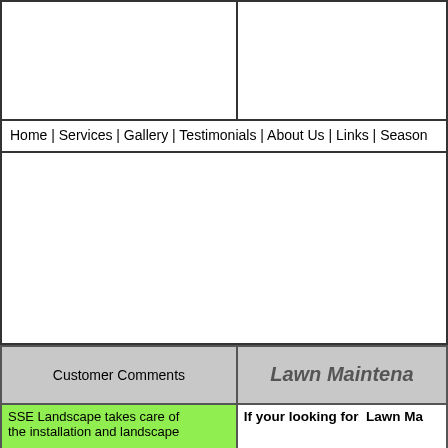[Figure (other): Two empty white boxes side by side forming a header area with borders]
Home | Services | Gallery | Testimonials | About Us | Links | Season
Customer Comments
Lawn Maintena
SSE Landscape takes care of the installation and landscape
If your looking for Lawn Ma